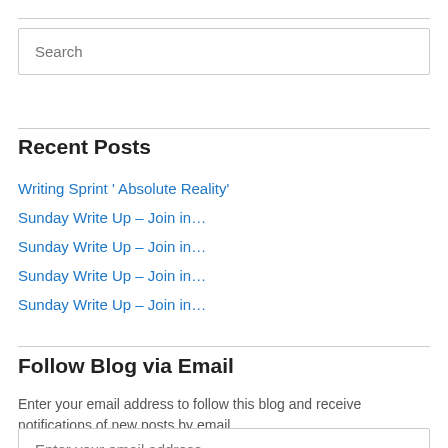[Figure (other): Search input field with placeholder text 'Search']
Recent Posts
Writing Sprint ' Absolute Reality'
Sunday Write Up – Join in…
Sunday Write Up – Join in…
Sunday Write Up – Join in…
Sunday Write Up – Join in…
Follow Blog via Email
Enter your email address to follow this blog and receive notifications of new posts by email.
[Figure (other): Email input field with placeholder text 'Enter your email address']